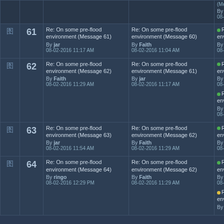|  | # | Message | References | Replies |
| --- | --- | --- | --- | --- |
|  | (Message 61) | herebedragons | 08-02-2016 1:05 PM |  |
| 61 | Re: On some pre-flood environment (Message 61)
By jar
08-02-2016 11:17 AM | Re: On some pre-flood environment (Message 60)
By Faith
08-02-2016 11:04 AM | Re: On some pre-flood environment (Message 62)
By Faith
08-02-2016 11:29 AM |  |
| 62 | Re: On some pre-flood environment (Message 62)
By Faith
08-02-2016 11:29 AM | Re: On some pre-flood environment (Message 61)
By jar
08-02-2016 11:17 AM | Re: On some pre-flood environment (Message 63)
By jar
08-02-2016 11:54 AM
Re: On some pre-flood environment (Message 64)
By ringo
08-02-2016 12:29 PM |  |
| 63 | Re: On some pre-flood environment (Message 63)
By jar
08-02-2016 11:54 AM | Re: On some pre-flood environment (Message 62)
By Faith
08-02-2016 11:29 AM | Re: On some pre-flood environment (Message 65)
By Faith
08-02-2016 12:52 PM |  |
| 64 | Re: On some pre-flood environment (Message 64)
By ringo
08-02-2016 12:29 PM | Re: On some pre-flood environment (Message 62)
By Faith
08-02-2016 11:29 AM | Re: On some pre-flood environment (Message 66)
By Faith
08-02-2016 12:52 PM
Re: On some pre-flood environment (Message 75)
By New Cat's Eye |  |